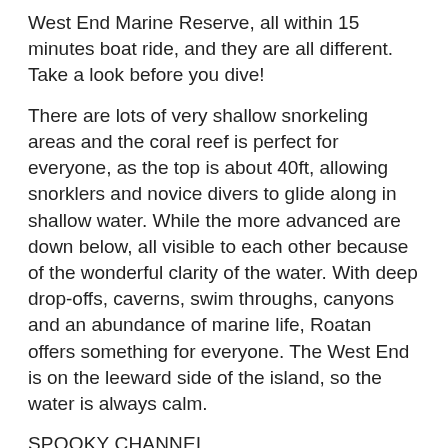West End Marine Reserve, all within 15 minutes boat ride, and they are all different. Take a look before you dive!
There are lots of very shallow snorkeling areas and the coral reef is perfect for everyone, as the top is about 40ft, allowing snorklers and novice divers to glide along in shallow water. While the more advanced are down below, all visible to each other because of the wonderful clarity of the water. With deep drop-offs, caverns, swim throughs, canyons and an abundance of marine life, Roatan offers something for everyone. The West End is on the leeward side of the island, so the water is always calm.
SPOOKY CHANNEL
A very different dive, dive through a deep channel that links the lagoon with the outer reef. The channel begins shallow but reaches a maximum depth of 90 feet, and is about 50 feet across at the widest point, but if you look up you will discover what makes this dive so famous. The walls of the channel slowly converge above you, and when they are only a few feet from the surface, the walls are only six feet apart. You can make out a beautiful ribbon of light 80 feet